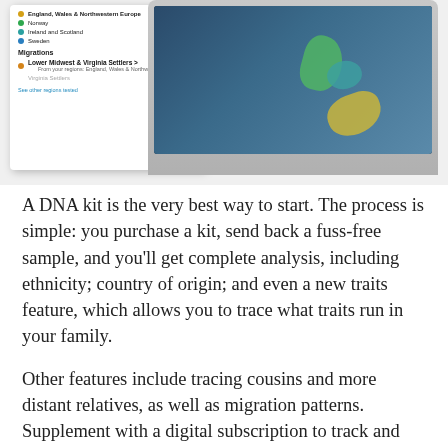[Figure (screenshot): A laptop computer screenshot showing an ancestry DNA results interface with a map of Europe displaying colored blobs indicating regions (England/Wales/NW Europe 74%, Norway 13%, Ireland and Scotland 12%, Sweden 2%), alongside a panel listing those regions and Migrations section showing Lower Midwest & Virginia Settlers.]
A DNA kit is the very best way to start. The process is simple: you purchase a kit, send back a fuss-free sample, and you'll get complete analysis, including ethnicity; country of origin; and even a new traits feature, which allows you to trace what traits run in your family.
Other features include tracing cousins and more distant relatives, as well as migration patterns. Supplement with a digital subscription to track and access family data. Learn More Here.